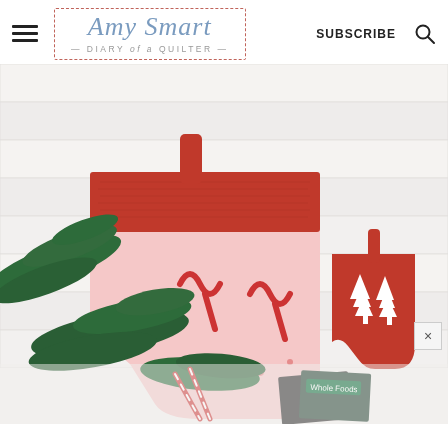Amy Smart — DIARY of a QUILTER — SUBSCRIBE
[Figure (photo): Christmas stockings scene: a large pink stocking with candy cane print and red felt cuff with a hanging loop, a smaller red stocking with white tree silhouettes, green cedar branches, and gift cards spilling out, arranged on a white shiplap background. A close button (×) is visible in the lower right.]